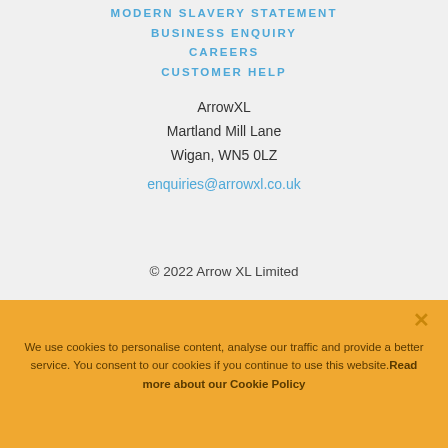MODERN SLAVERY STATEMENT
BUSINESS ENQUIRY
CAREERS
CUSTOMER HELP
ArrowXL
Martland Mill Lane
Wigan, WN5 0LZ
enquiries@arrowxl.co.uk
© 2022 Arrow XL Limited
We use cookies to personalise content, analyse our traffic and provide a better service. You consent to our cookies if you continue to use this website.Read more about our Cookie Policy